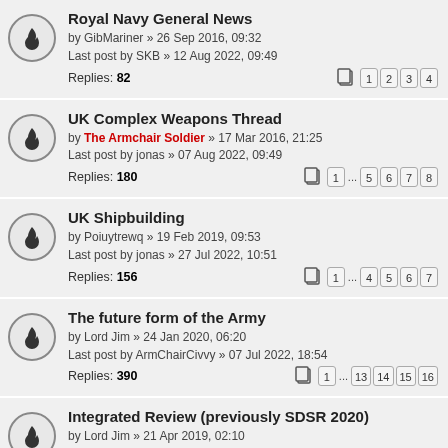Royal Navy General News
by GibMariner » 26 Sep 2016, 09:32
Last post by SKB » 12 Aug 2022, 09:49
Replies: 82
Pages: 1 2 3 4
UK Complex Weapons Thread
by The Armchair Soldier » 17 Mar 2016, 21:25
Last post by jonas » 07 Aug 2022, 09:49
Replies: 180
Pages: 1 ... 5 6 7 8
UK Shipbuilding
by Poiuytrewq » 19 Feb 2019, 09:53
Last post by jonas » 27 Jul 2022, 10:51
Replies: 156
Pages: 1 ... 4 5 6 7
The future form of the Army
by Lord Jim » 24 Jan 2020, 06:20
Last post by ArmChairCivvy » 07 Jul 2022, 18:54
Replies: 390
Pages: 1 ... 13 14 15 16
Integrated Review (previously SDSR 2020)
by Lord Jim » 21 Apr 2019, 02:10
Last post by Tempest414 » 01 May 2022, 10:59
Replies: 1230
Pages: 1 ... 47 48 49 50
Culture and behaviour